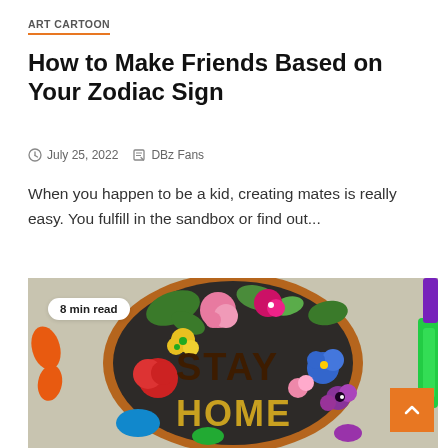ART CARTOON
How to Make Friends Based on Your Zodiac Sign
⊙ July 25, 2022   ✎ DBz Fans
When you happen to be a kid, creating mates is really easy. You fulfill in the sandbox or find out...
[Figure (photo): Colorful embroidery hoop with floral designs and the text STAY HOME stitched in brown and yellow thread, with embroidery thread and scissors in background. Badge overlay reads '8 min read'.]